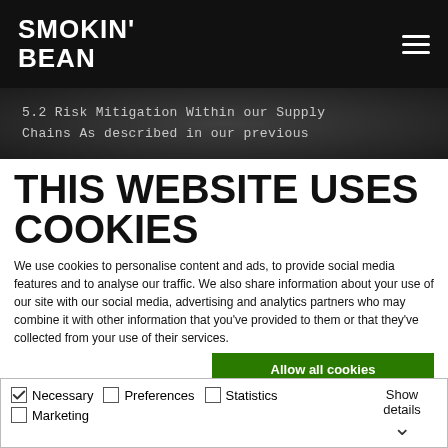SMOKIN' BEAN
5.2 Risk Mitigation Within our Supply Chains As described in our previous
THIS WEBSITE USES COOKIES
We use cookies to personalise content and ads, to provide social media features and to analyse our traffic. We also share information about your use of our site with our social media, advertising and analytics partners who may combine it with other information that you've provided to them or that they've collected from your use of their services.
Allow all cookies
Allow selection
Use necessary cookies only
Necessary  Preferences  Statistics  Marketing  Show details